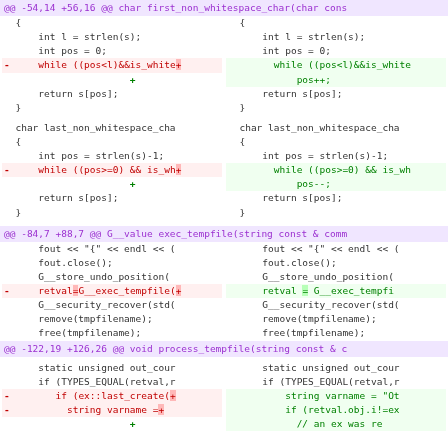[Figure (screenshot): Unified diff view showing code changes in two columns (old vs new). Contains three hunks: first_non_whitespace_char, exec_tempfile, and process_tempfile functions. Removed lines shown in red/pink, added lines in green.]